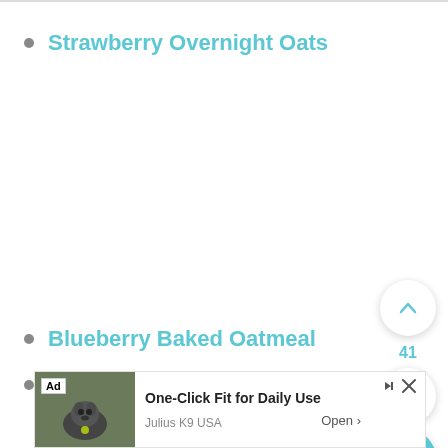Strawberry Overnight Oats
Blueberry Baked Oatmeal
Rainbow Oatmeal Bar
[Figure (other): Ad banner: One-Click Fit for Daily Use, Julius K9 USA, Open. Shows dog image with Ad label.]